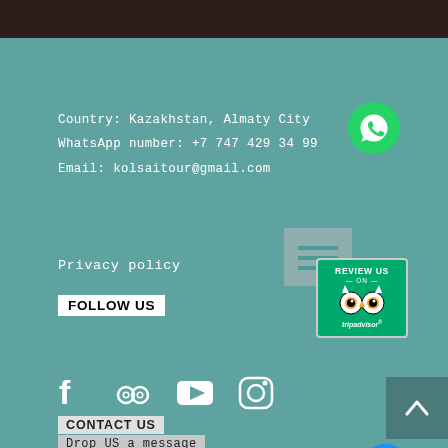Country: Kazakhstan, Almaty City
WhatsApp number: +7 747 429 34 99
Email: kolsaitour@gmail.com
[Figure (logo): WhatsApp green phone icon]
Privacy policy
FOLLOW US
[Figure (screenshot): Menu/hamburger icon box in muted teal]
[Figure (logo): TripAdvisor Review Us badge - green background with owl logo]
[Figure (infographic): Social media icons: Facebook, TripAdvisor, YouTube, Instagram]
[Figure (other): Scroll to top button - dark teal with up arrow]
CONTACT US
Drop US a message
Name *
[Figure (other): Blue chat bubble with three dots]